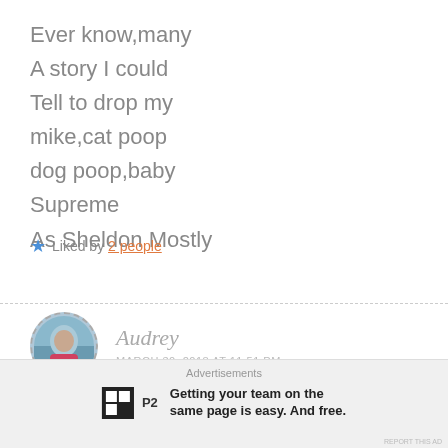Ever know,many
A story I could
Tell to drop my
mike,cat poop
dog poop,baby
Supreme
As Sheldon Mostly
★ Liked by 2 people
Audrey
MARCH 30, 2018 AT 11:51 PM
Advertisements
Getting your team on the same page is easy. And free.